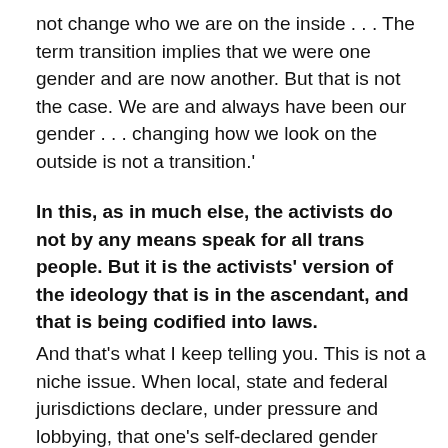not change who we are on the inside . . . The term transition implies that we were one gender and are now another. But that is not the case. We are and always have been our gender . . . changing how we look on the outside is not a transition.'
In this, as in much else, the activists do not by any means speak for all trans people. But it is the activists' version of the ideology that is in the ascendant, and that is being codified into laws.
And that's what I keep telling you. This is not a niche issue. When local, state and federal jurisdictions declare, under pressure and lobbying, that one's self-declared gender identity trumps biological sex in access to accommodations, and your daughter's school, in an effort to just avoid lawsuits, declares all restrooms and changing